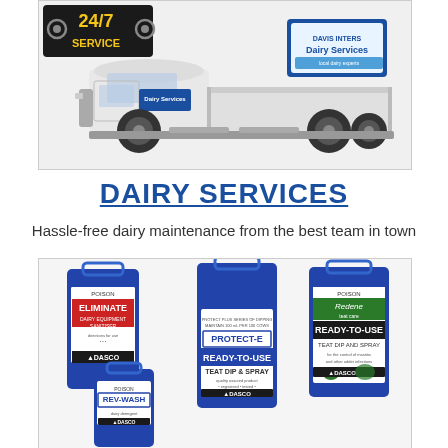[Figure (photo): White utility truck with 'Dairy Services' branding and a '24/7 SERVICE' badge in the top left corner]
DAIRY SERVICES
Hassle-free dairy maintenance from the best team in town
[Figure (photo): Blue plastic chemical containers with DASCO branding labels: ELIMINATE (dairy equipment sanitiser), REV-WASH, PROTECT-E READY-TO-USE TEAT DIP & SPRAY, and Redene READY-TO-USE TEAT DIP AND SPRAY]